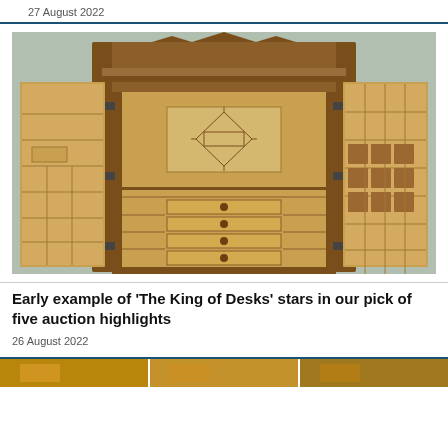27 August 2022
[Figure (photo): Antique wooden secretary desk with open doors revealing multiple internal compartments, shelves, small drawers, and decorative inlay panel — an early example of 'The King of Desks']
Early example of ‘The King of Desks’ stars in our pick of five auction highlights
26 August 2022
[Figure (photo): Bottom strip showing partial images of other auction items]